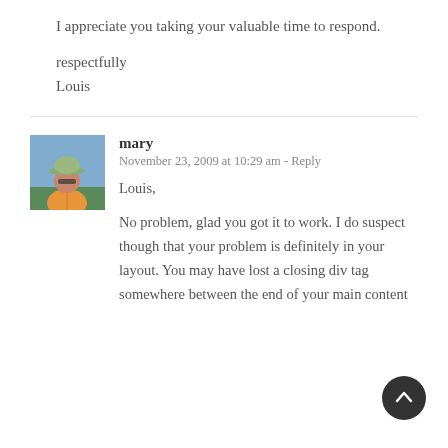I appreciate you taking your valuable time to respond.
respectfully
Louis
mary
November 23, 2009 at 10:29 am - Reply
Louis,
No problem, glad you got it to work. I do suspect though that your problem is definitely in your layout. You may have lost a closing div tag somewhere between the end of your main content